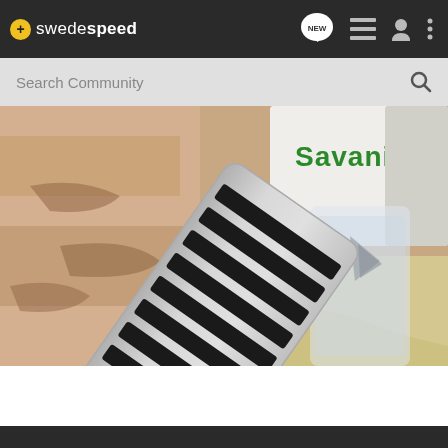swedespeed - navigation bar with logo, NEW, list, user, and menu icons
Search Community
[Figure (photo): A metallic aluminum pedal cover with black rubber anti-slip ridges photographed on a weathered painted wood surface. A Savanini branded box and a small plastic bag with hardware are visible in the background.]